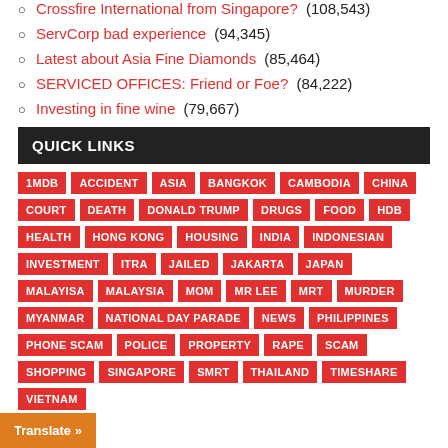Crossfire International from Singapore? (108,543)
ServCorp bad experience (94,345)
Latest about Asia Fine Diamonds (85,464)
SERVICED OFFICES: Friend or Foe? (84,222)
Investing in fine wine (79,667)
QUICK LINKS
1MDB ACCIDENT ASIA BANGKOK CAMBODIA CHINA COURT DEATH DONALD TRUMP DRUGS FOOD HDB HEALTH HONG KONG HOUSING INDIA INDONESIAN INVESTMENT ITRA JAILED JAKARTA JAPAN MALAYISA MALAYSIA MOM MR LEE MRT MURDER MYANMAR NATIONAL DAY PARADE NEWS PHILIPPINES PHONE SCAM POLICE PROPERTY RAPE SCAM SHOPPING SINGAPORE SMRT THAILAND TIMESHARE VIETNAM